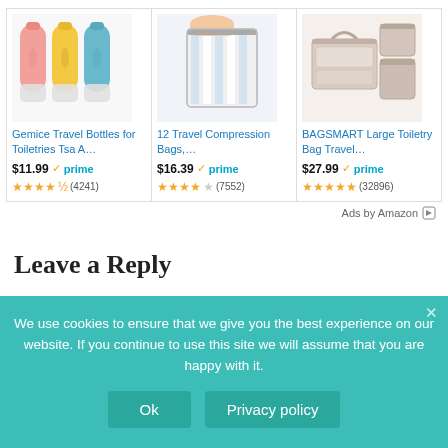[Figure (screenshot): Amazon product ad for Gemice Travel Bottles for Toiletries Tsa A... showing three colored silicone bottles (pink, yellow, blue). Price $11.99 with Prime badge. Rating 4.5 stars (4241 reviews).]
[Figure (screenshot): Amazon product ad for 12 Travel Compression Bags showing hands compressing striped fabric in a clear vacuum bag. Price $16.39 with Prime badge. Rating 4.5 stars (7552 reviews).]
[Figure (screenshot): Amazon product ad for BAGSMART Large Toiletry Bag Travel showing a beige multi-compartment hanging toiletry organizer. Price $27.99 with Prime badge. Rating 5 stars (32896 reviews).]
Ads by Amazon
Leave a Reply
We use cookies to ensure that we give you the best experience on our website. If you continue to use this site we will assume that you are happy with it.